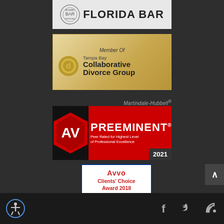[Figure (logo): Florida Bar Board Certified logo - partial view at top]
[Figure (logo): Tampa Bay Collaborative Divorce Group - Member Of badge with golden background]
[Figure (logo): Martindale-Hubbell AV Preeminent 2021 - Peer Rated for Highest Level of Professional Excellence]
[Figure (logo): Avvo Clients Choice Award 2018 - Patrick Francis Gaffney - 5 star rating]
[Figure (logo): Scroll to top arrow button]
[Figure (infographic): Footer with accessibility icon, Facebook, Twitter, and RSS feed social icons]